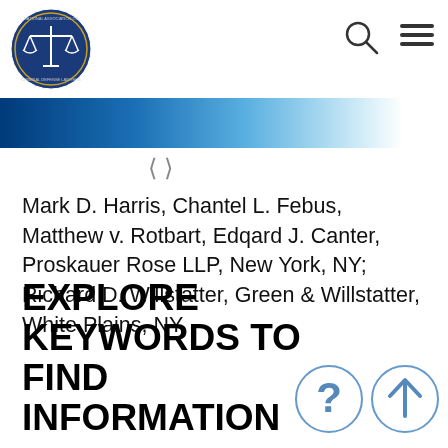National Association of Criminal Defense Lawyers logo, search icon, menu icon
[Figure (logo): National Association of Criminal Defense Lawyers circular logo with scales of justice on dark blue background]
Mark D. Harris, Chantel L. Febus, Matthew v. Rotbart, Edqard J. Canter, Proskauer Rose LLP, New York, NY; Richard D. Willstatter, Green & Willstatter, White Plains, NY.
EXPLORE KEYWORDS TO FIND INFORMATION